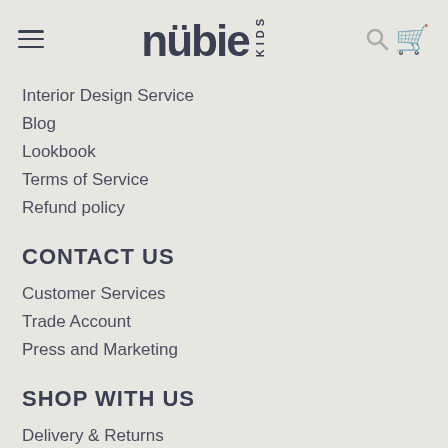nubie KIDS
Interior Design Service
Blog
Lookbook
Terms of Service
Refund policy
CONTACT US
Customer Services
Trade Account
Press and Marketing
SHOP WITH US
Delivery & Returns
Terms & Conditions
Klarna FAQ
Privacy Policy